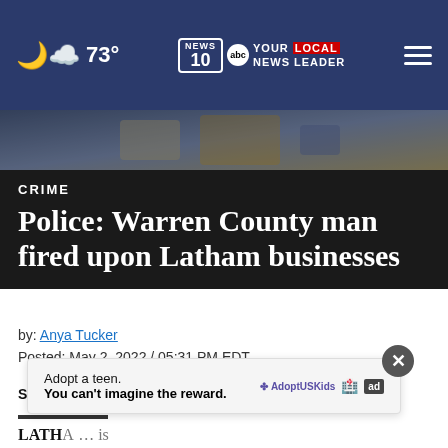73° NEWS 10 YOUR LOCAL NEWS LEADER
[Figure (photo): Blurred outdoor/nighttime scene with blue and warm tones, likely a news photo related to the crime story]
CRIME
Police: Warren County man fired upon Latham businesses
by: Anya Tucker
Posted: May 2, 2022 / 05:31 PM EDT
Updated: May 2, 2022 / 07:04 PM EDT
SHARE [Facebook] [Twitter] [WhatsApp] [More]
LATHA... is facing a slew of charges after an alleged shooting
[Figure (infographic): Advertisement overlay: 'Adopt a teen. You can't imagine the reward.' with AdoptUSKids and ad logos, with a close (X) button]